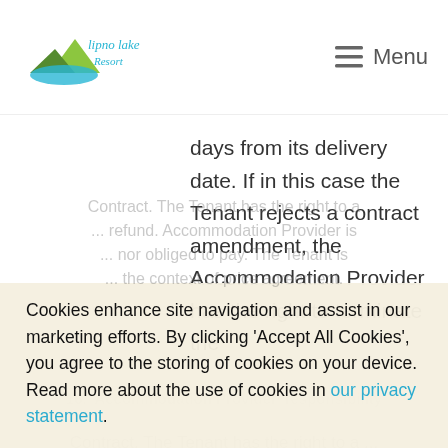Lipno Lake Resort — Menu
days from its delivery date. If in this case the Tenant rejects a contract amendment, the Accommodation Provider has the right to terminate the
Contract. The Tenant has the right to a ... (faded background text)
Cookies enhance site navigation and assist in our marketing efforts. By clicking 'Accept All Cookies', you agree to the storing of cookies on your device. Read more about the use of cookies in our privacy statement.
Accept all cookies
Settings